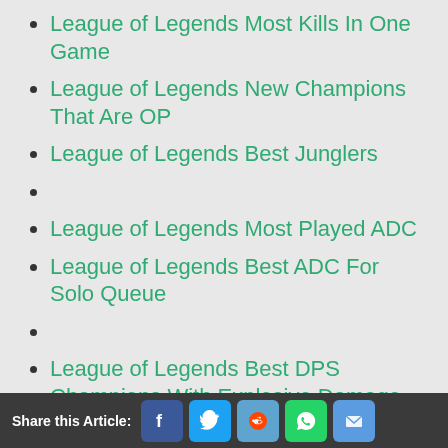League of Legends Most Kills In One Game
League of Legends New Champions That Are OP
League of Legends Best Junglers
League of Legends Most Played ADC
League of Legends Best ADC For Solo Queue
League of Legends Best DPS Champions With Explosive Damage
Share this Article: